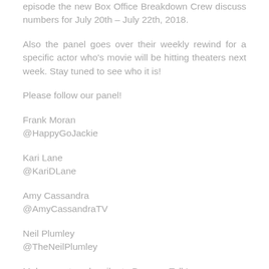episode the new Box Office Breakdown Crew discuss numbers for July 20th – July 22th, 2018.
Also the panel goes over their weekly rewind for a specific actor who's movie will be hitting theaters next week. Stay tuned to see who it is!
Please follow our panel!
Frank Moran
@HappyGoJackie
Kari Lane
@KariDLane
Amy Cassandra
@AmyCassandraTV
Neil Plumley
@TheNeilPlumley
Make sure to subscribe to Popcorn Talk! –